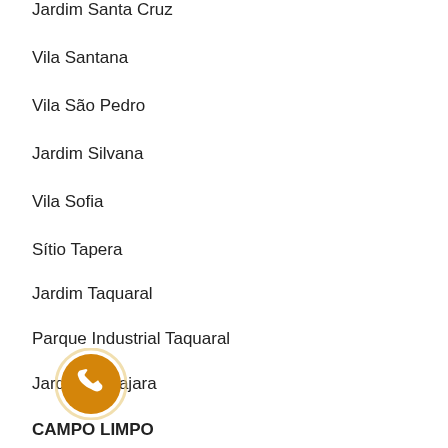Jardim Santa Cruz
Vila Santana
Vila São Pedro
Jardim Silvana
Vila Sofia
Sítio Tapera
Jardim Taquaral
Parque Industrial Taquaral
Jardim Ubirajara
CAMPO LIMPO
[Figure (illustration): Orange circular phone icon with white handset symbol]